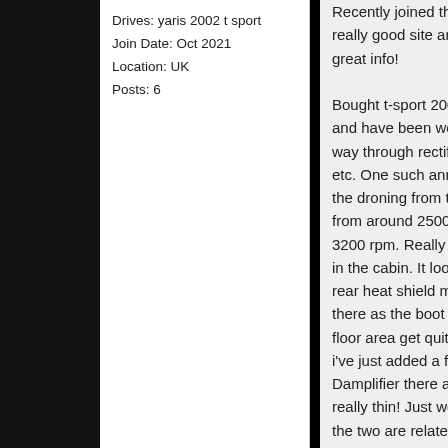Drives: yaris 2002 t sport
Join Date: Oct 2021
Location: UK
Posts: 6
Recently joined the forum - really good site and loads of great info!

Bought t-sport 2002 recently and have been working my way through rectifying niggles etc. One such annoyance is the droning from the exhaust from around 2500 to about 3200 rpm. Really very intrusive in the cabin. It looks like the rear heat shield may not be there as the boot carpet and floor area get quite warm too - i've just added a few layers of Damplifier there as the floor is really thin! Just wondering if the two are related? Anyone else had that drone and if